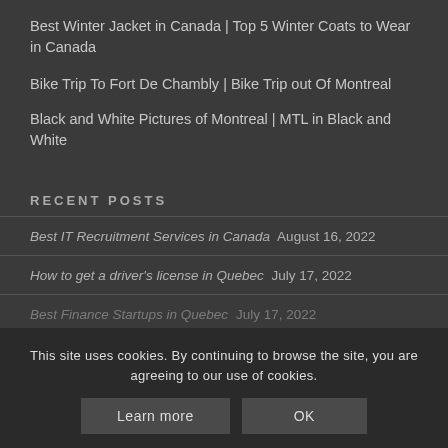Best Winter Jacket in Canada | Top 5 Winter Coats to Wear in Canada
Bike Trip To Fort De Chambly | Bike Trip out Of Montreal
Black and White Pictures of Montreal | MTL in Black and White
RECENT POSTS
Best IT Recruitment Services in Canada August 16, 2022
How to get a driver's license in Quebec July 17, 2022
Best Finance Startups in Quebec July 17, 2022
Best Finance Startups in Montreal July 15, 2022
Top 10 Tech Companies in Quebec July...
This site uses cookies. By continuing to browse the site, you are agreeing to our use of cookies.